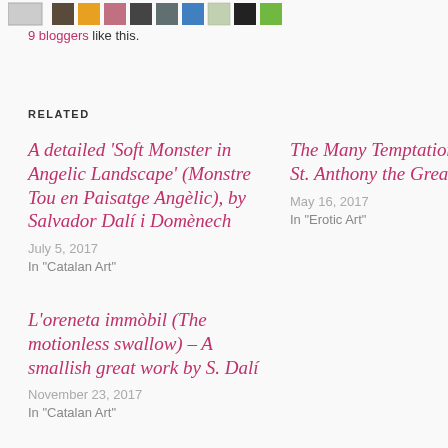[Figure (other): Row of small blogger avatar thumbnails at the top of the page]
9 bloggers like this.
RELATED
A detailed ‘Soft Monster in Angelic Landscape’ (Monstre Tou en Paisatge Angèlic), by Salvador Dalí i Domènech
July 5, 2017
In “Catalan Art”
The Many Temptations of St. Anthony the Great (I)
May 16, 2017
In “Erotic Art”
L’oreneta immòbil (The motionless swallow) – A smallish great work by S. Dalí
November 23, 2017
In “Catalan Art”